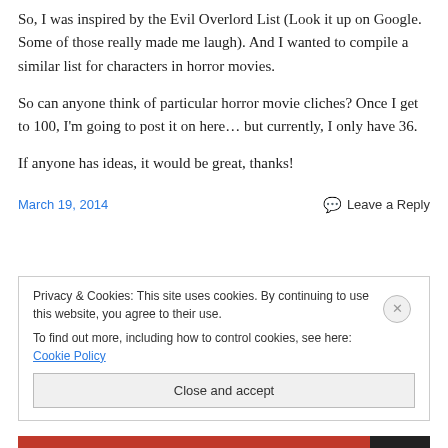So, I was inspired by the Evil Overlord List (Look it up on Google. Some of those really made me laugh). And I wanted to compile a similar list for characters in horror movies.
So can anyone think of particular horror movie cliches? Once I get to 100, I'm going to post it on here… but currently, I only have 36.
If anyone has ideas, it would be great, thanks!
March 19, 2014    Leave a Reply
Privacy & Cookies: This site uses cookies. By continuing to use this website, you agree to their use.
To find out more, including how to control cookies, see here: Cookie Policy